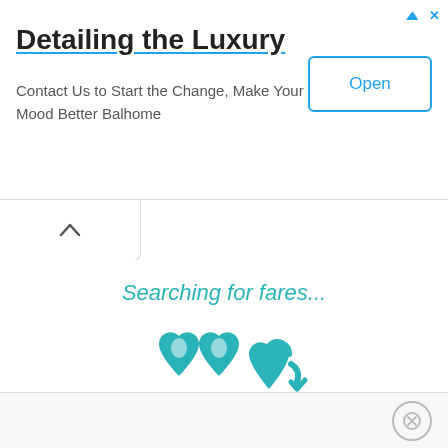Detailing the Luxury
Contact Us to Start the Change, Make Your Mood Better Balhome
[Figure (other): Open button with blue border and blue text on white background]
[Figure (other): Tab bar with upward chevron arrow icon]
Searching for fares...
[Figure (illustration): Animated teal/cyan map pin hearts icon showing searching for fares loading animation, with a faded circular chart icon below]
[Figure (other): Close (X) button circle at bottom right of bottom ad banner]